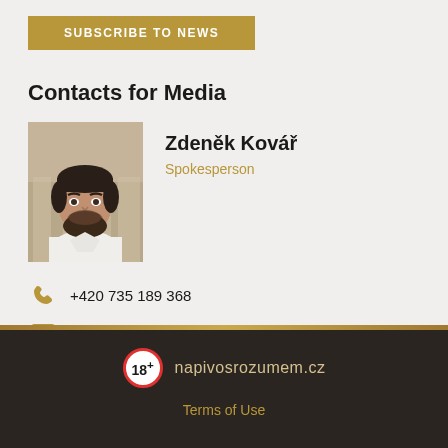SUBSCRIBE TO NEWS
Contacts for Media
[Figure (photo): Headshot photo of Zdeněk Kovář, a man with dark hair and beard wearing a white shirt]
Zdeněk Kovář
Spokesperson
+420 735 189 368
Zdenek.Kovar@asahibeer.cz
18+ napivosrozumem.cz
Terms of Use